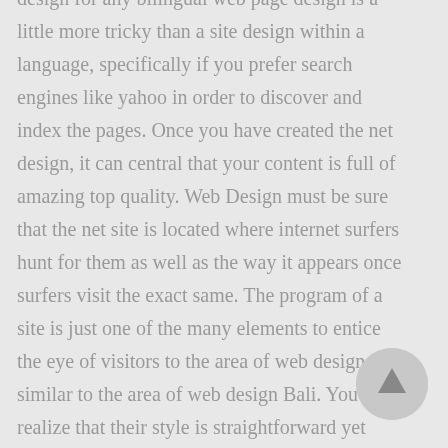design for any bilingual web page design is a little more tricky than a site design within a language, specifically if you prefer search engines like yahoo in order to discover and index the pages. Once you have created the net design, it can central that your content is full of amazing top quality. Web Design must be sure that the net site is located where internet surfers hunt for them as well as the way it appears once surfers visit the exact same. The program of a site is just one of the many elements to entice the eye of visitors to the area of web design, similar to the area of web design Bali. You will realize that their style is straightforward yet appealing with the identical period. Whether web page design or development, training and implementing your distinctive ideas together with the most suitable codes is that you must succeed.
[Figure (other): A circular scroll-to-top button with an upward pointing arrow, positioned in the bottom right corner]